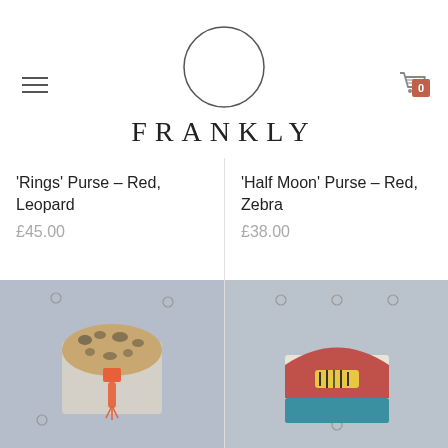[Figure (logo): Frankly brand logo with circle and text FRANKLY in spaced serif capital letters]
'Rings' Purse - Red, Leopard
£45.00
'Half Moon' Purse - Red, Zebra
£38.00
[Figure (photo): Photo of a leopard-print and silver purse with orange tassel on grey background]
[Figure (photo): Photo of a red, cream and yellow zebra-print purse on grey background]